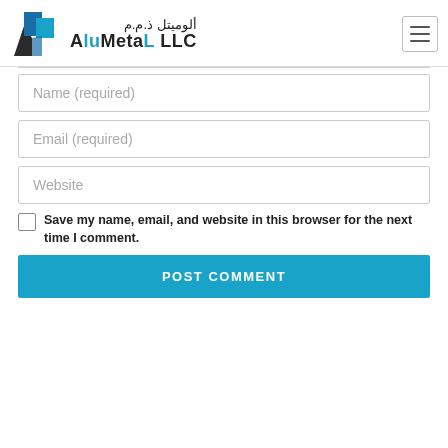[Figure (logo): AluMetal LLC logo with blue and dark geometric shapes and Arabic text]
Name (required)
Email (required)
Website
Save my name, email, and website in this browser for the next time I comment.
POST COMMENT